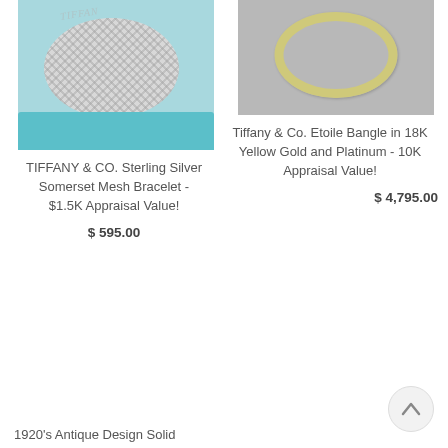[Figure (photo): TIFFANY & CO. Sterling Silver Somerset Mesh Bracelet on a light blue/tiffany blue background]
[Figure (photo): Tiffany & Co. Etoile Bangle in 18K Yellow Gold and Platinum on a gray background]
TIFFANY & CO. Sterling Silver Somerset Mesh Bracelet - $1.5K Appraisal Value!
Tiffany & Co. Etoile Bangle in 18K Yellow Gold and Platinum - 10K Appraisal Value!
$ 595.00
$ 4,795.00
1920's Antique Design Solid